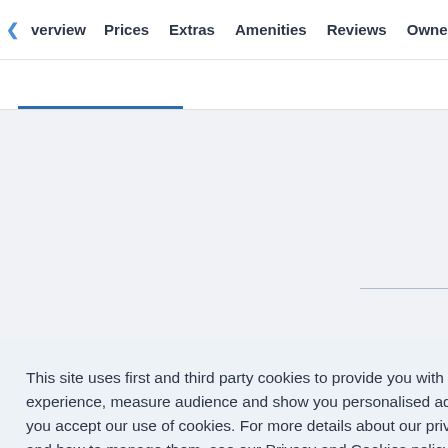◁verview  Prices  Extras  Amenities  Reviews  Owner  Lo▷
This site uses first and third party cookies to provide you with a great user experience, measure audience and show you personalised ads. By using Sailo you accept our use of cookies. For more details about our privacy policy, cookies and how to manage them, see our Privacy and Cookies policy.
Learn more
Got it!